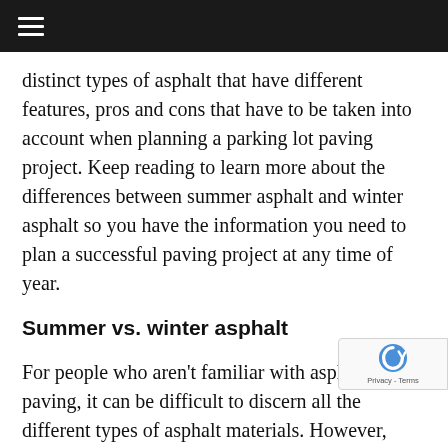≡
distinct types of asphalt that have different features, pros and cons that have to be taken into account when planning a parking lot paving project. Keep reading to learn more about the differences between summer asphalt and winter asphalt so you have the information you need to plan a successful paving project at any time of year.
Summer vs. winter asphalt
For people who aren't familiar with asphalt paving, it can be difficult to discern all the different types of asphalt materials. However, there are some very simple distinctions between summer and winter asphalt. Summer asphalt is designed to be installed during the summer months, when the weather outside is hotte... Summer asphalt is usually used for large paving pro... like parking lot installation, road paving or long driveway